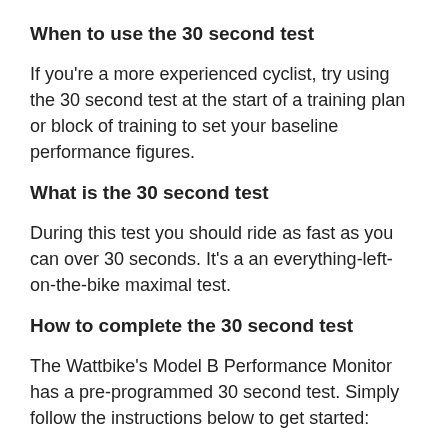When to use the 30 second test
If you're a more experienced cyclist, try using the 30 second test at the start of a training plan or block of training to set your baseline performance figures.
What is the 30 second test
During this test you should ride as fast as you can over 30 seconds. It's a an everything-left-on-the-bike maximal test.
How to complete the 30 second test
The Wattbike's Model B Performance Monitor has a pre-programmed 30 second test. Simply follow the instructions below to get started:
1. From the main menu select workouts/ tests
2. On the test screen, select 30s test
3. Input your weight, gender and select enter to start the test